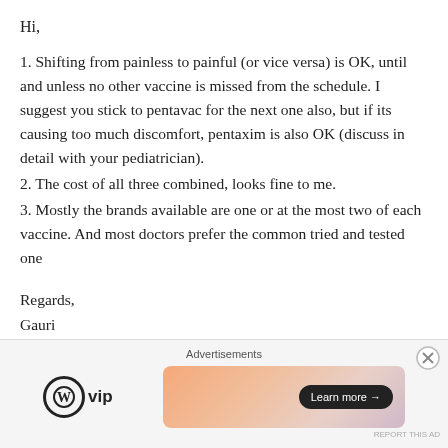Hi,
1. Shifting from painless to painful (or vice versa) is OK, until and unless no other vaccine is missed from the schedule. I suggest you stick to pentavac for the next one also, but if its causing too much discomfort, pentaxim is also OK (discuss in detail with your pediatrician).
2. The cost of all three combined, looks fine to me.
3. Mostly the brands available are one or at the most two of each vaccine. And most doctors prefer the common tried and tested one
Regards,
Gauri
★ Like
Advertisements
[Figure (logo): WordPress VIP logo and advertisement banner with Learn more button]